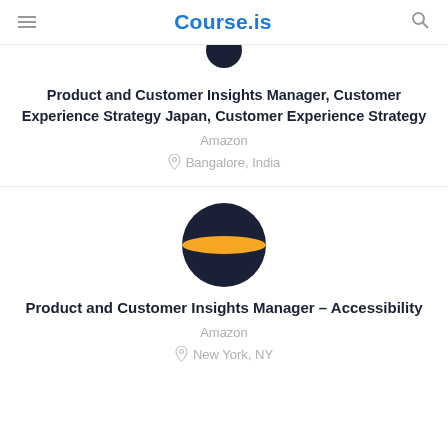Course.is
[Figure (logo): Dark navy circular Amazon logo (partial, cropped at top)]
Product and Customer Insights Manager, Customer Experience Strategy Japan, Customer Experience Strategy
Amazon
Bangalore, India
[Figure (logo): Dark navy circle with orange horizontal stripe through the middle — Amazon logo]
Product and Customer Insights Manager – Accessibility
Amazon
New York, NY